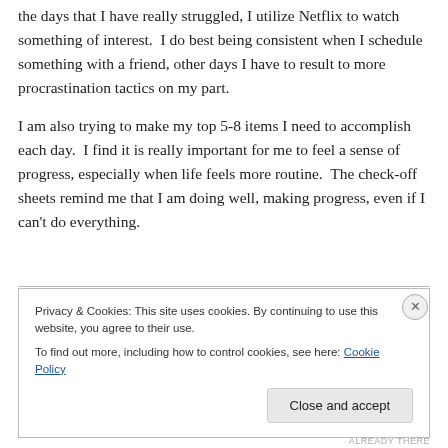the days that I have really struggled, I utilize Netflix to watch something of interest.  I do best being consistent when I schedule something with a friend, other days I have to result to more procrastination tactics on my part.
I am also trying to make my top 5-8 items I need to accomplish each day.  I find it is really important for me to feel a sense of progress, especially when life feels more routine.  The check-off sheets remind me that I am doing well, making progress, even if I can't do everything.
Privacy & Cookies: This site uses cookies. By continuing to use this website, you agree to their use.
To find out more, including how to control cookies, see here: Cookie Policy
Close and accept